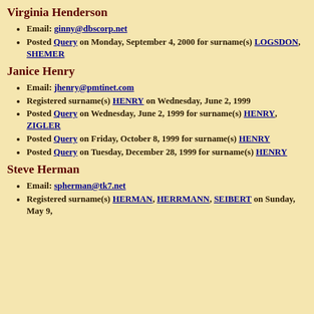Virginia Henderson
Email: ginny@dbscorp.net
Posted Query on Monday, September 4, 2000 for surname(s) LOGSDON, SHEMER
Janice Henry
Email: jhenry@pmtinet.com
Registered surname(s) HENRY on Wednesday, June 2, 1999
Posted Query on Wednesday, June 2, 1999 for surname(s) HENRY, ZIGLER
Posted Query on Friday, October 8, 1999 for surname(s) HENRY
Posted Query on Tuesday, December 28, 1999 for surname(s) HENRY
Steve Herman
Email: spherman@tk7.net
Registered surname(s) HERMAN, HERRMANN, SEIBERT on Sunday, May 9,